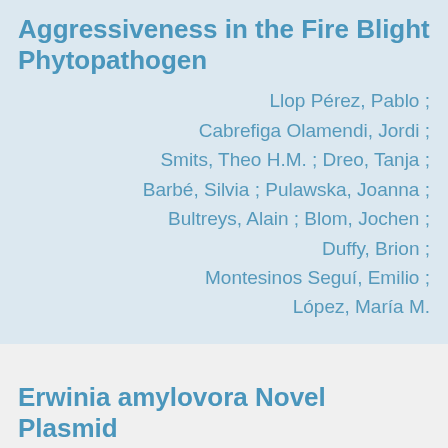Aggressiveness in the Fire Blight Phytopathogen
Llop Pérez, Pablo ; Cabrefiga Olamendi, Jordi ; Smits, Theo H.M. ; Dreo, Tanja ; Barbé, Silvia ; Pulawska, Joanna ; Bultreys, Alain ; Blom, Jochen ; Duffy, Brion ; Montesinos Seguí, Emilio ; López, María M.
Erwinia amylovora Novel Plasmid